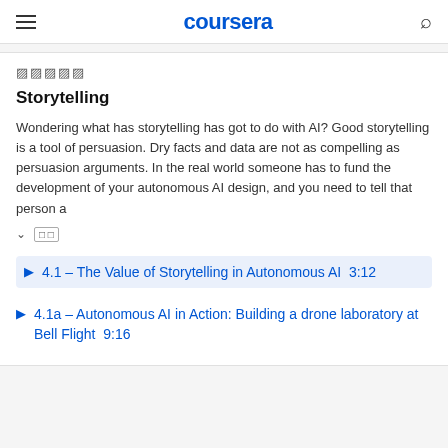coursera
★★★★★
Storytelling
Wondering what has storytelling has got to do with AI? Good storytelling is a tool of persuasion. Dry facts and data are not as compelling as persuasion arguments. In the real world someone has to fund the development of your autonomous AI design, and you need to tell that person a
4.1 – The Value of Storytelling in Autonomous AI  3:12
4.1a – Autonomous AI in Action: Building a drone laboratory at Bell Flight  9:16